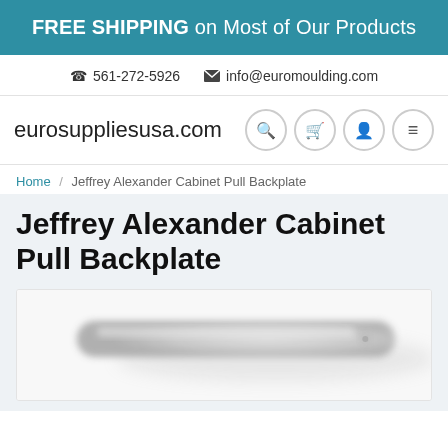FREE SHIPPING on Most of Our Products
561-272-5926   info@euromoulding.com
eurosuppliesusa.com
Home / Jeffrey Alexander Cabinet Pull Backplate
Jeffrey Alexander Cabinet Pull Backplate
[Figure (photo): Photo of a Jeffrey Alexander Cabinet Pull Backplate, showing a silver/white elongated backplate with a blurred close-up view]